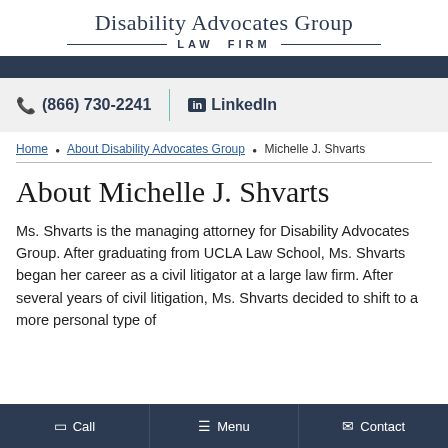Disability Advocates Group LAW FIRM
(866) 730-2241  LinkedIn
Home • About Disability Advocates Group • Michelle J. Shvarts
About Michelle J. Shvarts
Ms. Shvarts is the managing attorney for Disability Advocates Group. After graduating from UCLA Law School, Ms. Shvarts began her career as a civil litigator at a large law firm. After several years of civil litigation, Ms. Shvarts decided to shift to a more personal type of
Call   Menu   Contact